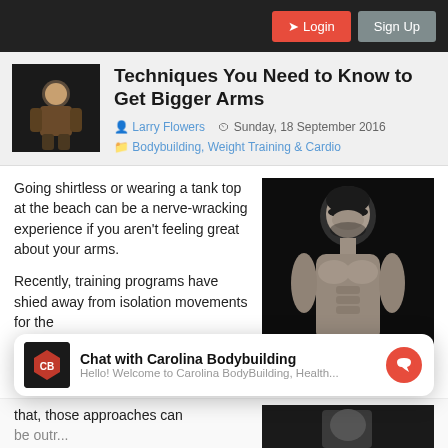Login | Sign Up
Techniques You Need to Know to Get Bigger Arms
Larry Flowers   Sunday, 18 September 2016   Bodybuilding, Weight Training & Cardio
Going shirtless or wearing a tank top at the beach can be a nerve-wracking experience if you aren't feeling great about your arms.

Recently, training programs have shied away from isolation movements for the
[Figure (photo): Black and white photo of a muscular shirtless man looking down]
Chat with Carolina Bodybuilding
Hello! Welcome to Carolina BodyBuilding, Health...
that, those approaches can